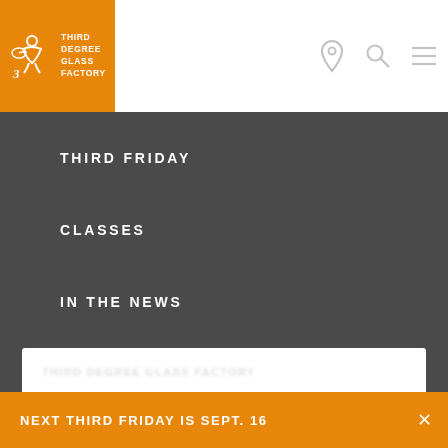[Figure (logo): Third Degree Glass Factory logo - orange block with stylized glass blower icon and text THIRD DEGREE GLASS FACTORY]
THIRD FRIDAY
CLASSES
IN THE NEWS
OUR COMMUNITY
NEXT THIRD FRIDAY IS SEPT. 16